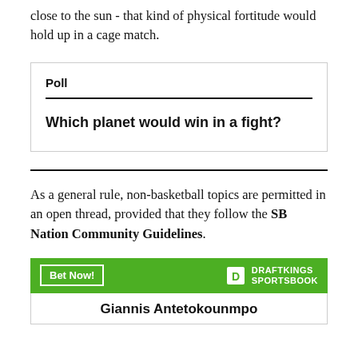close to the sun - that kind of physical fortitude would hold up in a cage match.
Poll
Which planet would win in a fight?
As a general rule, non-basketball topics are permitted in an open thread, provided that they follow the SB Nation Community Guidelines.
[Figure (infographic): DraftKings Sportsbook advertisement bar with 'Bet Now!' button and DraftKings Sportsbook logo]
Giannis Antetokounmpo